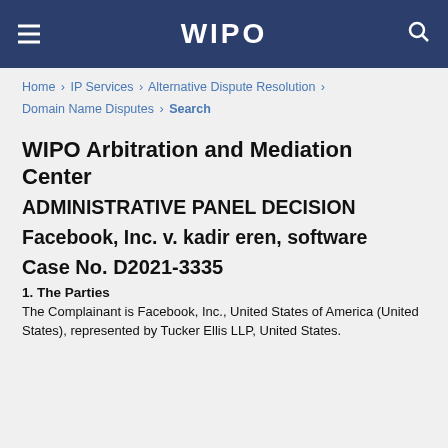WIPO
Home › IP Services › Alternative Dispute Resolution › Domain Name Disputes › Search
WIPO Arbitration and Mediation Center
ADMINISTRATIVE PANEL DECISION
Facebook, Inc. v. kadir eren, software
Case No. D2021-3335
1. The Parties
The Complainant is Facebook, Inc., United States of America (United States), represented by Tucker Ellis LLP, United States.